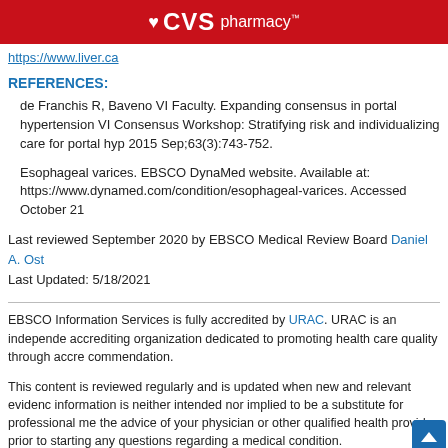CVS pharmacy™
https://www.liver.ca
REFERENCES:
de Franchis R, Baveno VI Faculty. Expanding consensus in portal hypertension VI Consensus Workshop: Stratifying risk and individualizing care for portal hyp 2015 Sep;63(3):743-752.
Esophageal varices. EBSCO DynaMed website. Available at: https://www.dynamed.com/condition/esophageal-varices. Accessed October 21
Last reviewed September 2020 by EBSCO Medical Review Board Daniel A. Ost Last Updated: 5/18/2021
EBSCO Information Services is fully accredited by URAC. URAC is an independent accrediting organization dedicated to promoting health care quality through accreditation commendation.
This content is reviewed regularly and is updated when new and relevant evidence information is neither intended nor implied to be a substitute for professional medical the advice of your physician or other qualified health provider prior to starting any questions regarding a medical condition.
To send comments or feedback to our Editorial Team regarding the contact page